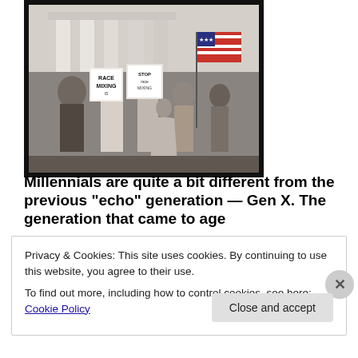[Figure (photo): Black and white historical photograph of a crowd of people holding protest signs reading 'RACE MIXING' and 'STOP race mixing', with an American flag visible, in front of a building with large columns.]
Millennials are quite a bit different from the previous “echo” generation — Gen X. The generation that came to age
Privacy & Cookies: This site uses cookies. By continuing to use this website, you agree to their use.
To find out more, including how to control cookies, see here: Cookie Policy